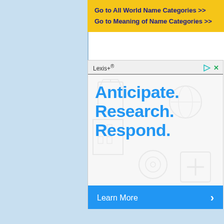Go to All World Name Categories >> | Go to Meaning of Name Categories >>
[Figure (screenshot): Lexis+ advertisement banner. Top bar shows 'Lexis+®' brand name with play and close icons. Main content area has watermark legal/document icons in background. Large blue text reads 'Anticipate. Research. Respond.' Blue bottom button says 'Learn More >']